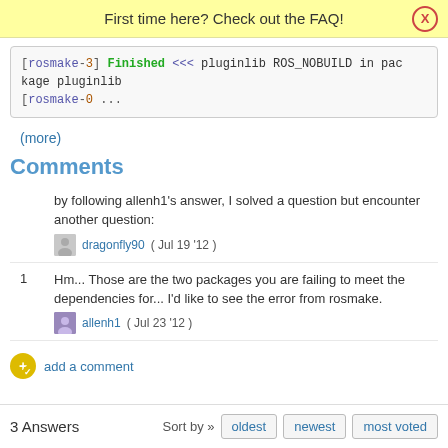First time here? Check out the FAQ!
[rosmake-3] Finished <<< pluginlib ROS_NOBUILD in package pluginlib
[rosmake-0 ...
(more)
Comments
by following allenh1's answer, I solved a question but encounter another question:
dragonfly90 ( Jul 19 '12 )
Hm... Those are the two packages you are failing to meet the dependencies for... I'd like to see the error from rosmake.
allenh1 ( Jul 23 '12 )
add a comment
3 Answers   Sort by »   oldest   newest   most voted